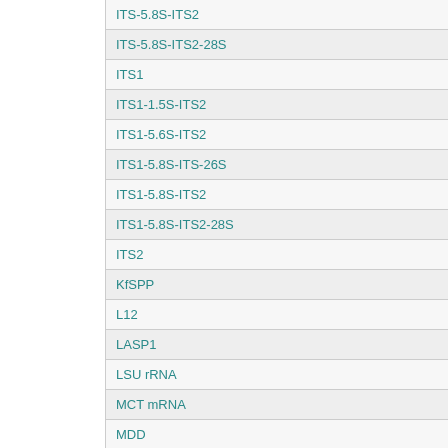| Marker |
| --- |
| ITS-5.8S-ITS2 |
| ITS-5.8S-ITS2-28S |
| ITS1 |
| ITS1-1.5S-ITS2 |
| ITS1-5.6S-ITS2 |
| ITS1-5.8S-ITS-26S |
| ITS1-5.8S-ITS2 |
| ITS1-5.8S-ITS2-28S |
| ITS2 |
| KfSPP |
| L12 |
| LASP1 |
| LSU rRNA |
| MCT mRNA |
| MDD |
| MECPS |
| MID |
| MS |
| MTD1 |